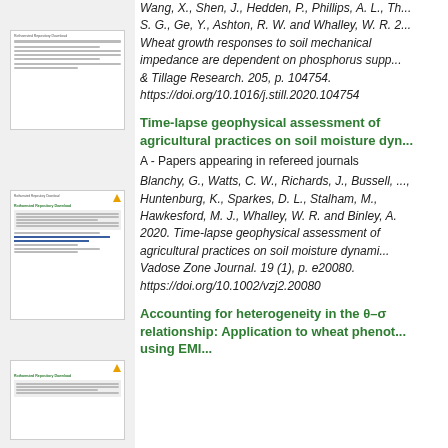Wang, X., Shen, J., Hedden, P., Phillips, A. L., Th..., S. G., Ge, Y., Ashton, R. W. and Whalley, W. R. 2... Wheat growth responses to soil mechanical impedance are dependent on phosphorus supp... & Tillage Research. 205, p. 104754. https://doi.org/10.1016/j.still.2020.104754
[Figure (screenshot): Thumbnail of a document page (top left)]
Time-lapse geophysical assessment of agricultural practices on soil moisture dyn...
A - Papers appearing in refereed journals
[Figure (screenshot): Thumbnail of a document page (middle left)]
Blanchy, G., Watts, C. W., Richards, J., Bussell, ..., Huntenburg, K., Sparkes, D. L., Stalham, M., Hawkesford, M. J., Whalley, W. R. and Binley, A. 2020. Time-lapse geophysical assessment of agricultural practices on soil moisture dynami... Vadose Zone Journal. 19 (1), p. e20080. https://doi.org/10.1002/vzj2.20080
[Figure (screenshot): Thumbnail of a document page (bottom left)]
Accounting for heterogeneity in the θ–σ relationship: Application to wheat phenot... using EMI...